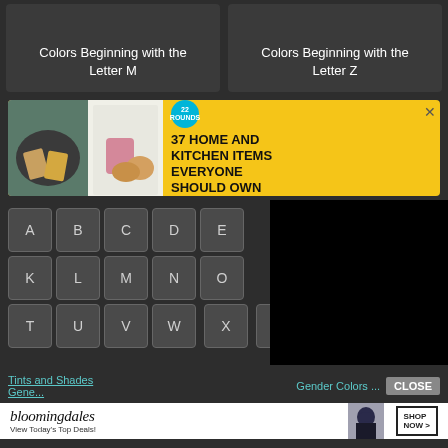Colors Beginning with the Letter M
Colors Beginning with the Letter Z
[Figure (infographic): Advertisement banner with yellow background showing kitchen/food images and text '37 HOME AND KITCHEN ITEMS EVERYONE SHOULD OWN' with a circular badge showing '22']
[Figure (infographic): Alphabet keyboard navigation showing letter keys A B C D E on first row, K L M N O on second row, T U V W X Y Z on third row, with right side blacked out]
CLOSE
[Figure (infographic): Bloomingdale's advertisement: 'View Today's Top Deals! SHOP NOW >' with woman in hat image]